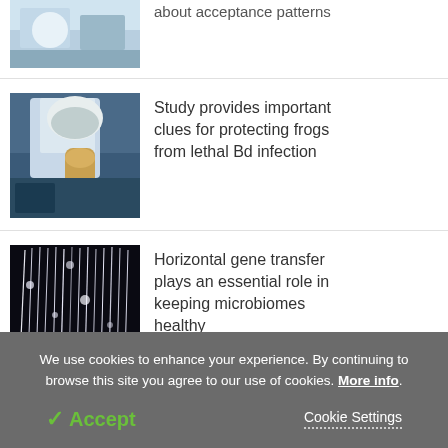[Figure (photo): Partial view of a scientist/researcher at top of page, truncated]
[Figure (photo): Person in protective gear and mask examining a small object, likely related to frog Bd infection research]
Study provides important clues for protecting frogs from lethal Bd infection
[Figure (photo): Close-up of microbial colonies or bacterial growth on dark background]
Horizontal gene transfer plays an essential role in keeping microbiomes healthy
We use cookies to enhance your experience. By continuing to browse this site you agree to our use of cookies. More info.
✓ Accept
Cookie Settings